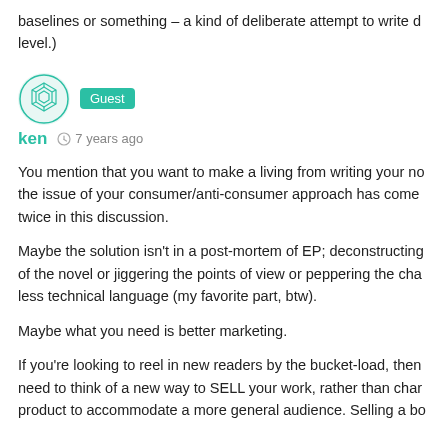baselines or something – a kind of deliberate attempt to write d level.)
ken  7 years ago
You mention that you want to make a living from writing your no the issue of your consumer/anti-consumer approach has come twice in this discussion.
Maybe the solution isn't in a post-mortem of EP; deconstructing of the novel or jiggering the points of view or peppering the cha less technical language (my favorite part, btw).
Maybe what you need is better marketing.
If you're looking to reel in new readers by the bucket-load, then need to think of a new way to SELL your work, rather than char product to accommodate a more general audience. Selling a bo